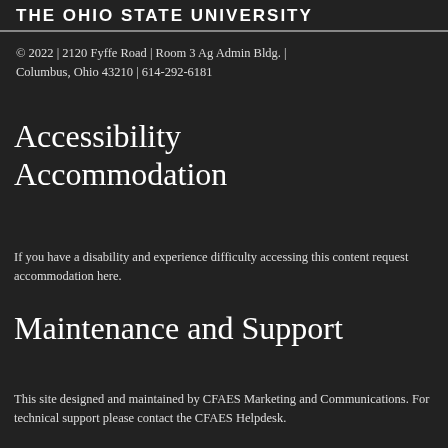THE OHIO STATE UNIVERSITY
© 2022 | 2120 Fyffe Road | Room 3 Ag Admin Bldg. | Columbus, Ohio 43210 | 614-292-6181
Accessibility Accommodation
If you have a disability and experience difficulty accessing this content request accommodation here.
Maintenance and Support
This site designed and maintained by CFAES Marketing and Communications. For technical support please contact the CFAES Helpdesk.